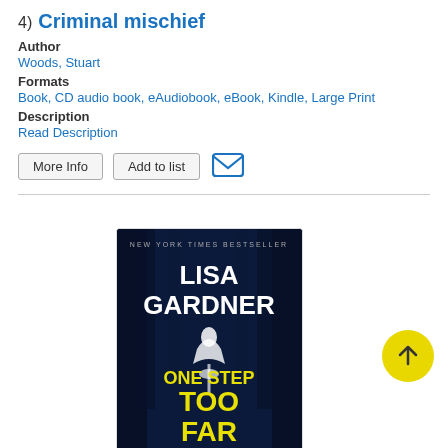4) Criminal mischief
Author
Woods, Stuart
Formats
Book, CD audio book, eAudiobook, eBook, Kindle, Large Print
Description
Read Description
[Figure (illustration): Book cover: Lisa Gardner - One Step Too Far, dark forest background with yellow title text, showing 4.5 star rating below]
[Figure (other): Yellow circular up-arrow scroll-to-top button]